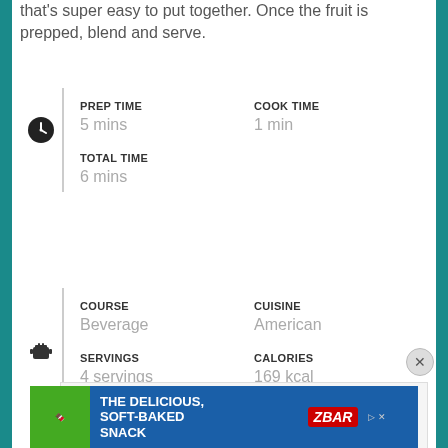that's super easy to put together. Once the fruit is prepped, blend and serve.
| PREP TIME | COOK TIME |
| --- | --- |
| 5 mins | 1 min |
| TOTAL TIME |  |
| 6 mins |  |
| COURSE | CUISINE |
| --- | --- |
| Beverage | American |
| SERVINGS | CALORIES |
| 4 servings | 169 kcal |
[Figure (screenshot): Samsung advertisement: Get Galaxy Watch5 for only $99 via 24 monthly bill]
[Figure (screenshot): ZBar advertisement: The Delicious, Soft-Baked Snack]